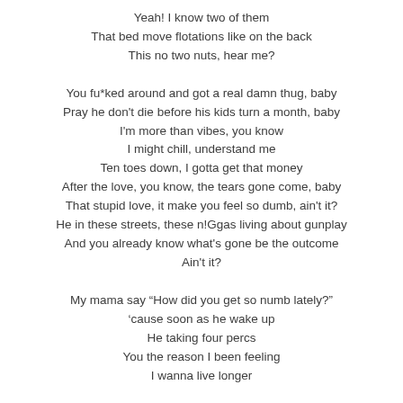Yeah! I know two of them
That bed move flotations like on the back
This no two nuts, hear me?

You fu*ked around and got a real damn thug, baby
Pray he don't die before his kids turn a month, baby
I'm more than vibes, you know
I might chill, understand me
Ten toes down, I gotta get that money
After the love, you know, the tears gone come, baby
That stupid love, it make you feel so dumb, ain't it?
He in these streets, these n!Ggas living about gunplay
And you already know what's gone be the outcome
Ain't it?

My mama say "How did you get so numb lately?"
'cause soon as he wake up
He taking four percs
You the reason I been feeling
I wanna live longer